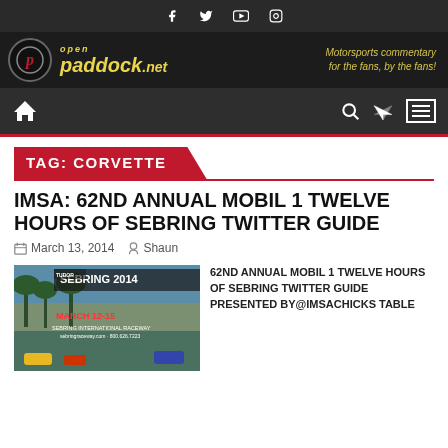Social icons: Facebook, Twitter, YouTube, Instagram
[Figure (logo): OpenPaddock.net logo banner with tagline: Motorsports commentary for the fans, by the fans!]
Navigation bar with home icon, search, shuffle, and menu icons
TAG: CORVETTE
IMSA: 62ND ANNUAL MOBIL 1 TWELVE HOURS OF SEBRING TWITTER GUIDE
March 13, 2014 · Shaun
[Figure (photo): Sebring 2014 race event promotional image showing March 12-15, Sebring International Raceway]
62ND ANNUAL MOBIL 1 TWELVE HOURS OF SEBRING TWITTER GUIDE Presented By@IMSAChicks Table